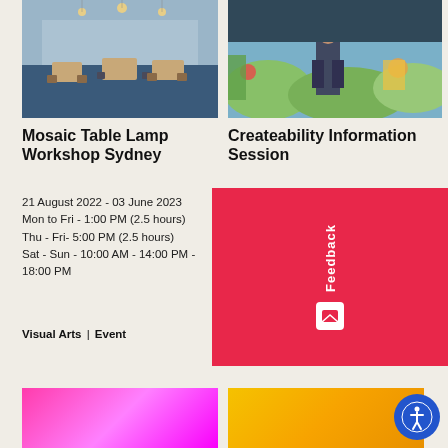[Figure (photo): Interior of a cafe or workshop space with tables and chairs on blue carpet, natural light from windows]
[Figure (photo): Person standing in front of a colorful stage set with painted scenery]
Mosaic Table Lamp Workshop Sydney
21 August 2022 - 03 June 2023
Mon to Fri - 1:00 PM (2.5 hours)
Thu - Fri- 5:00 PM (2.5 hours)
Sat - Sun - 10:00 AM - 14:00 PM - 18:00 PM
Visual Arts | Event
Createability Information Session
01 September 2022
2pm - 3pm
Visual Arts | Program | Online
[Figure (other): Red feedback overlay widget with envelope icon and Feedback label rotated vertically]
[Figure (photo): Bright pink/magenta gradient image at bottom left]
[Figure (photo): Yellow/orange gradient image at bottom right]